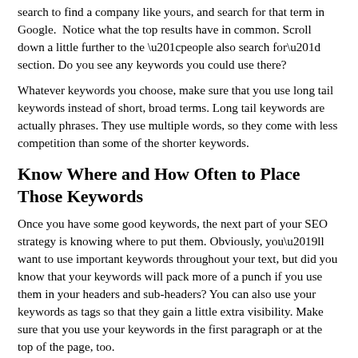search to find a company like yours, and search for that term in Google. Notice what the top results have in common. Scroll down a little further to the “people also search for” section. Do you see any keywords you could use there?
Whatever keywords you choose, make sure that you use long tail keywords instead of short, broad terms. Long tail keywords are actually phrases. They use multiple words, so they come with less competition than some of the shorter keywords.
Know Where and How Often to Place Those Keywords
Once you have some good keywords, the next part of your SEO strategy is knowing where to put them. Obviously, you’ll want to use important keywords throughout your text, but did you know that your keywords will pack more of a punch if you use them in your headers and sub-headers? You can also use your keywords as tags so that they gain a little extra visibility. Make sure that you use your keywords in the first paragraph or at the top of the page, too.
Next, you’ll want to use your keywords often, but don’t oversaturate your content with keywords. For one thing, oversaturation looks like cheating to the algorithms, so it can hurt your rankings. For another thing, your readers don’t want to